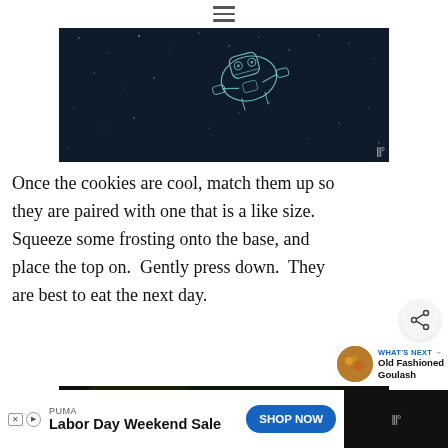[Figure (illustration): Dark space-themed illustration showing a mechanical/robotic object (possibly a spaceship or mechanical creature) outlined in teal/cyan lines against a dark starry background]
Once the cookies are cool, match them up so they are paired with one that is a like size.  Squeeze some frosting onto the base, and place the top on.  Gently press down.  They are best to eat the next day.
[Figure (photo): Close-up photo of what appears to be a chocolate macaron or sandwich cookie being held, with dark green foliage blurred in the background]
WHAT'S NEXT → Old Fashioned Goulash
PUMA Labor Day Weekend Sale SHOP NOW